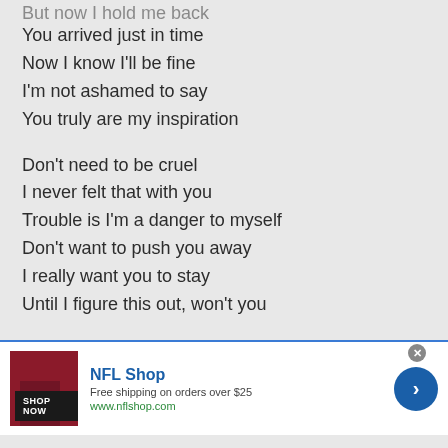But now I hold me back (partially visible/cut off at top)
You arrived just in time
Now I know I'll be fine
I'm not ashamed to say
You truly are my inspiration
Don't need to be cruel
I never felt that with you
Trouble is I'm a danger to myself
Don't want to push you away
I really want you to stay
Until I figure this out, won't you
Please, come take me over
[Figure (screenshot): NFL Shop advertisement banner. Shows NFL Shop logo text in blue, image of dark red NFL jersey/shirt, 'SHOP NOW' button in black, text 'Free shipping on orders over $25', 'www.nflshop.com' in green, blue circle arrow button on right, and close X button.]